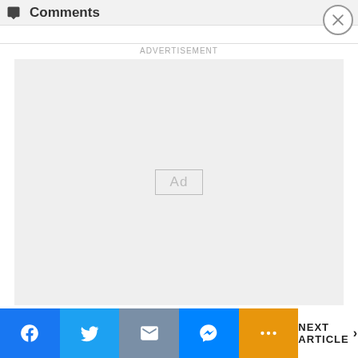Comments
ADVERTISEMENT
[Figure (other): Advertisement placeholder box with 'Ad' label inside a bordered rectangle on a light gray background]
[Figure (other): Social sharing toolbar with Facebook, Twitter, Email, Messenger, and More buttons, plus a NEXT ARTICLE navigation button]